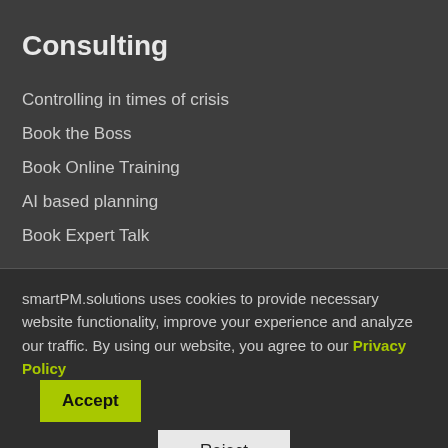Consulting
Controlling in times of crisis
Book the Boss
Book Online Training
AI based planning
Book Expert Talk
Career
smartPM.solutions uses cookies to provide necessary website functionality, improve your experience and analyze our traffic. By using our website, you agree to our Privacy Policy
Accept
Reject